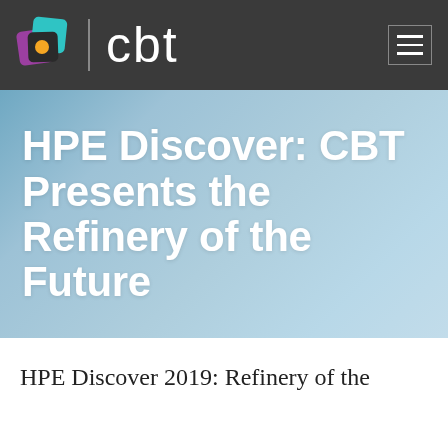[Figure (logo): CBT logo with colorful geometric icon and 'cbt' text in white, plus hamburger menu icon on the right, on a dark gray navigation bar]
HPE Discover: CBT Presents the Refinery of the Future
HPE Discover 2019: Refinery of the